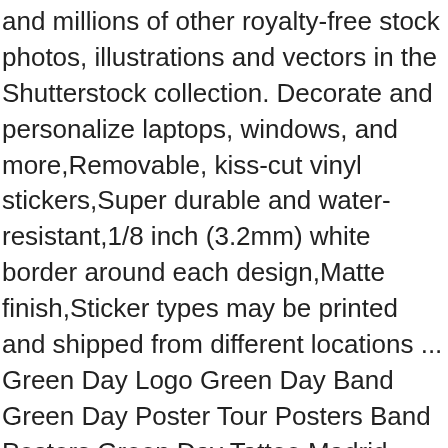and millions of other royalty-free stock photos, illustrations and vectors in the Shutterstock collection. Decorate and personalize laptops, windows, and more,Removable, kiss-cut vinyl stickers,Super durable and water-resistant,1/8 inch (3.2mm) white border around each design,Matte finish,Sticker types may be printed and shipped from different locations ... Green Day Logo Green Day Band Green Day Poster Tour Posters Band Posters Green Day Tattoo Madrid Music Aesthetic Photo Wall Collage. Backed by Fossil's 11-year warranty as a matter of course and beautifully crafted, this smoke-colored piece is guaranteed to become the go-to accessory for nearly every occasion. The band is forgiving and comfortable against your wrist, and it's blue color will likely compliment your existing wardrobe. 63. It was that day that I